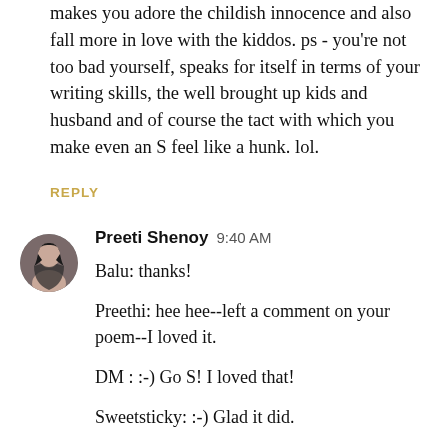makes you adore the childish innocence and also fall more in love with the kiddos. ps - you're not too bad yourself, speaks for itself in terms of your writing skills, the well brought up kids and husband and of course the tact with which you make even an S feel like a hunk. lol.
REPLY
[Figure (photo): Circular avatar photo of Preeti Shenoy, a woman with dark hair]
Preeti Shenoy  9:40 AM
Balu: thanks!

Preethi: hee hee--left a comment on your poem--I loved it.

DM : :-) Go S! I loved that!

Sweetsticky: :-) Glad it did.

Fruitu: Thanks!!

Rosit: thanks my friend--I do feel blessed